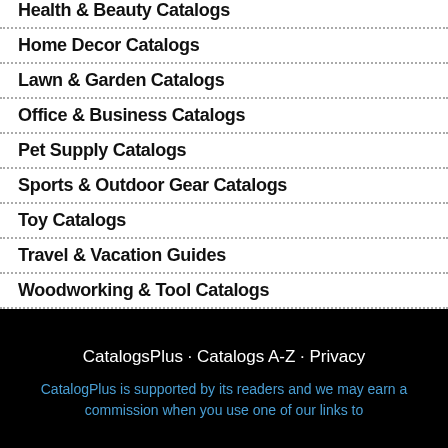Health & Beauty Catalogs
Home Decor Catalogs
Lawn & Garden Catalogs
Office & Business Catalogs
Pet Supply Catalogs
Sports & Outdoor Gear Catalogs
Toy Catalogs
Travel & Vacation Guides
Woodworking & Tool Catalogs
CatalogsPlus · Catalogs A-Z · Privacy
CatalogPlus is supported by its readers and we may earn a commission when you use one of our links to